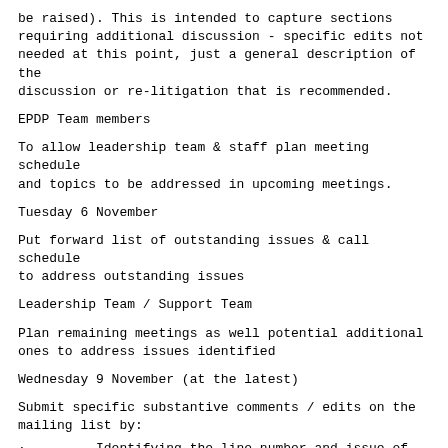be raised). This is intended to capture sections requiring additional discussion - specific edits not needed at this point, just a general description of the discussion or re-litigation that is recommended.
EPDP Team members
To allow leadership team & staff plan meeting schedule and topics to be addressed in upcoming meetings.
Tuesday 6 November
Put forward list of outstanding issues & call schedule to address outstanding issues
Leadership Team / Support Team
Plan remaining meetings as well potential additional ones to address issues identified
Wednesday 9 November (at the latest)
Submit specific substantive comments / edits on the mailing list by:
·         Identifying the line number and issue of concern
·         Put forward proposed changes (factoring in the view points of others and discussions held until date – no reopening of previously agreed upon items)
·         Outline the rationale for proposed change(s)